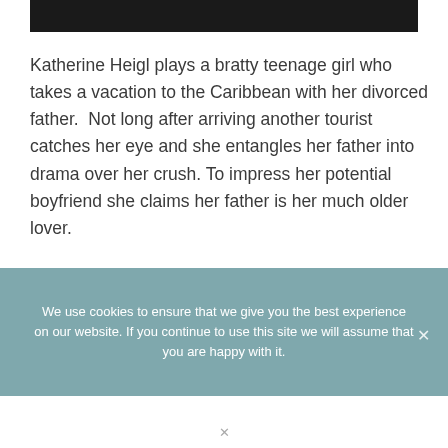[Figure (other): Black header bar at top of page]
Katherine Heigl plays a bratty teenage girl who takes a vacation to the Caribbean with her divorced father.  Not long after arriving another tourist catches her eye and she entangles her father into drama over her crush. To impress her potential boyfriend she claims her father is her much older lover.
We use cookies to ensure that we give you the best experience on our website. If you continue to use this site we will assume that you are happy with it.